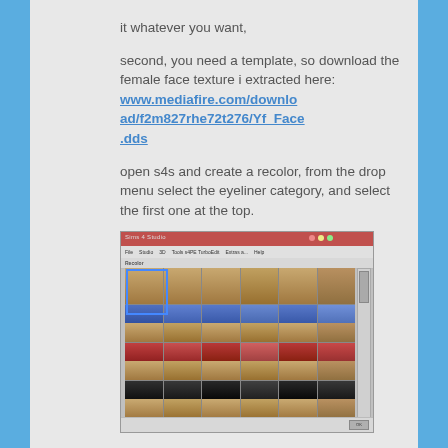it whatever you want,
second, you need a template, so download the female face texture i extracted here: www.mediafire.com/download/f2m827rhe72t276/Yf_Face.dds
open s4s and create a recolor, from the drop menu select the eyeliner category, and select the first one at the top.
[Figure (screenshot): Screenshot of a Sims 4 Studio recolor tool showing a grid of eyeliner swatches applied to female sim faces in various colors including blue, red, and dark tones.]
next extract the eyeliner texture and save it in your project folder as Texture. Now open both of the textures in photoshop. go to the vf head texture and